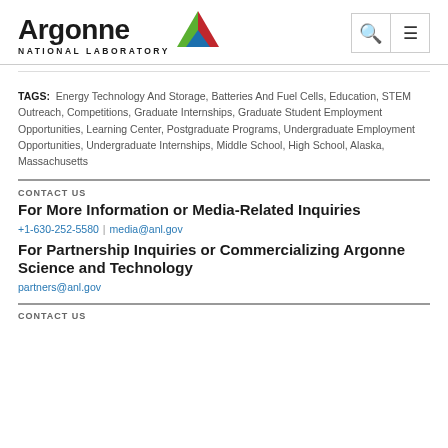Argonne National Laboratory
TAGS: Energy Technology And Storage, Batteries And Fuel Cells, Education, STEM Outreach, Competitions, Graduate Internships, Graduate Student Employment Opportunities, Learning Center, Postgraduate Programs, Undergraduate Employment Opportunities, Undergraduate Internships, Middle School, High School, Alaska, Massachusetts
CONTACT US
For More Information or Media-Related Inquiries
+1-630-252-5580 | media@anl.gov
For Partnership Inquiries or Commercializing Argonne Science and Technology
partners@anl.gov
CONTACT US